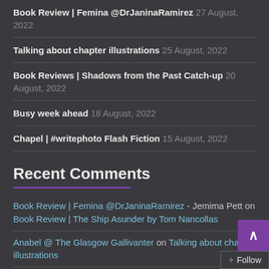Book Review | Femina @DrJaninaRamirez 27 August, 2022
Talking about chapter illustrations 25 August, 2022
Book Reviews | Shadows from the Past Catch-up 20 August, 2022
Busy week ahead 18 August, 2022
Chapel | #writephoto Flash Fiction 15 August, 2022
Recent Comments
Book Review | Femina @DrJaninaRamirez - Jemima Pett on Book Review | The Ship Asunder by Tom Nancollas
Anabel @ The Glasgow Gallivanter on Talking about chapter illustrations
Jemima Pett on Talking about chapter illustrations
Rebecca Douglass on Talking about chapter illustrations
Rae Longest on Book Reviews | Shadows from the Past C...